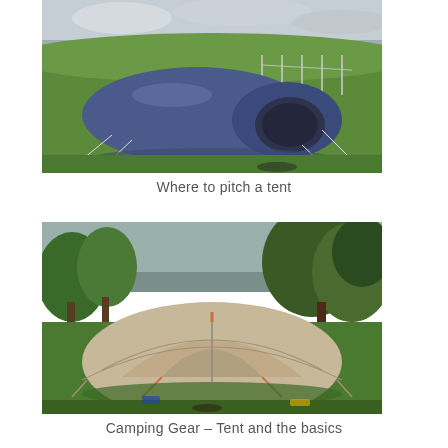[Figure (photo): A blue tunnel tent pitched on an open green field with cloudy sky in the background. Guy ropes are visible extending from the tent.]
Where to pitch a tent
[Figure (photo): A large beige/tan dome tent pitched on green grass with trees in the background. The tent has a front entrance panel visible.]
Camping Gear – Tent and the basics